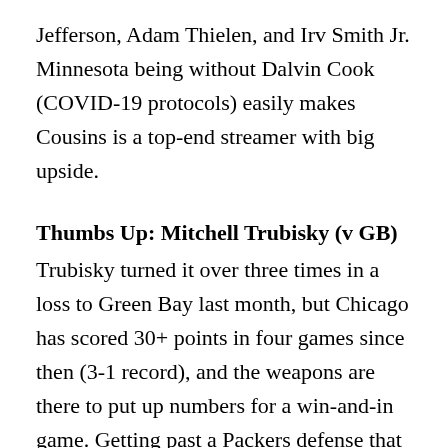Jefferson, Adam Thielen, and Irv Smith Jr. Minnesota being without Dalvin Cook (COVID-19 protocols) easily makes Cousins is a top-end streamer with big upside.
Thumbs Up: Mitchell Trubisky (v GB)
Trubisky turned it over three times in a loss to Green Bay last month, but Chicago has scored 30+ points in four games since then (3-1 record), and the weapons are there to put up numbers for a win-and-in game. Getting past a Packers defense that has historically given Trubisky problems would be huge; we'll see if he also does damage as a runner to move the